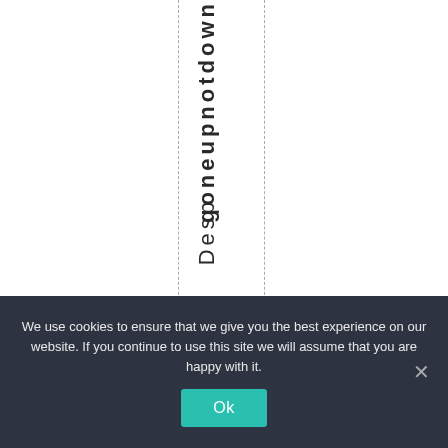goneupnotdown
Desp
We use cookies to ensure that we give you the best experience on our website. If you continue to use this site we will assume that you are happy with it.